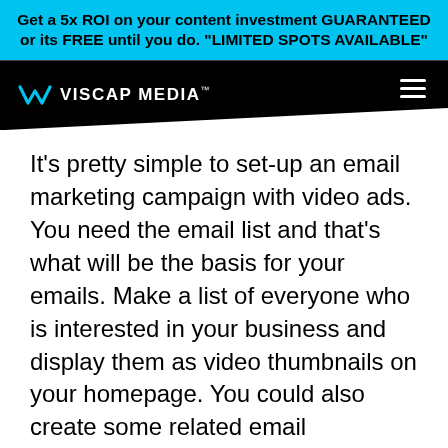Get a 5x ROI on your content investment GUARANTEED or its FREE until you do. "LIMITED SPOTS AVAILABLE"
[Figure (logo): Viscap Media logo with hamburger menu on black navigation bar]
It's pretty simple to set-up an email marketing campaign with video ads. You need the email list and that's what will be the basis for your emails. Make a list of everyone who is interested in your business and display them as video thumbnails on your homepage. You could also create some related email marketing campaigns such as discounts, newsletters or just mentioning the launch date of your product.